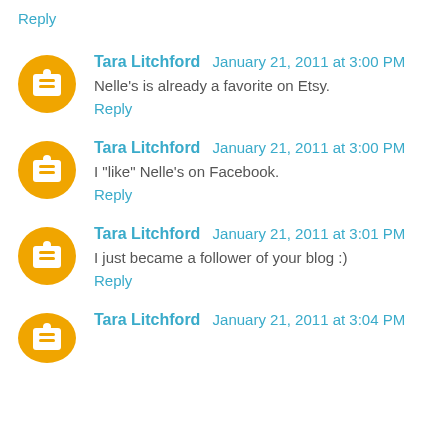Reply
Tara Litchford  January 21, 2011 at 3:00 PM
Nelle's is already a favorite on Etsy.
Reply
Tara Litchford  January 21, 2011 at 3:00 PM
I "like" Nelle's on Facebook.
Reply
Tara Litchford  January 21, 2011 at 3:01 PM
I just became a follower of your blog :)
Reply
Tara Litchford  January 21, 2011 at 3:04 PM